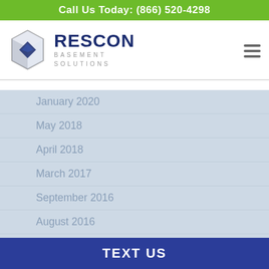Call Us Today: (866) 520-4298
[Figure (logo): Rescon Basement Solutions logo with geometric box icon and company name]
January 2020
May 2018
April 2018
March 2017
September 2016
August 2016
June 2016
May 2016
April 2016
March 2016
TEXT US